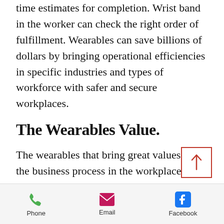time estimates for completion. Wrist band in the worker can check the right order of fulfillment. Wearables can save billions of dollars by bringing operational efficiencies in specific industries and types of workforce with safer and secure workplaces.
The Wearables Value.
The wearables that bring great values in the business process in the workplace were:
Safety First. Provide a heads-up display and pull the mobile device
Phone   Email   Facebook